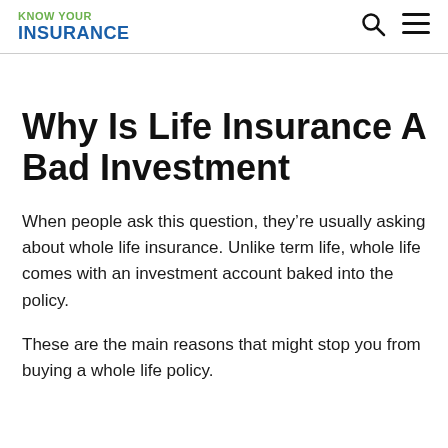KNOW YOUR INSURANCE
Why Is Life Insurance A Bad Investment
When people ask this question, they’re usually asking about whole life insurance. Unlike term life, whole life comes with an investment account baked into the policy.
These are the main reasons that might stop you from buying a whole life policy.